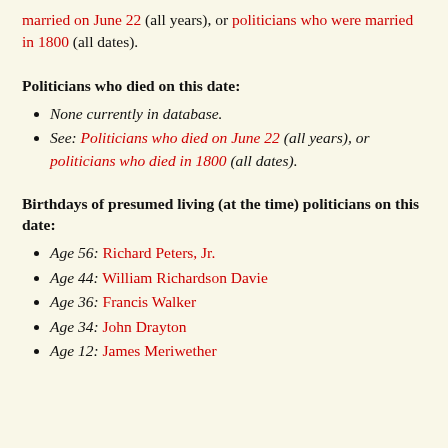married on June 22 (all years), or politicians who were married in 1800 (all dates).
Politicians who died on this date:
None currently in database.
See: Politicians who died on June 22 (all years), or politicians who died in 1800 (all dates).
Birthdays of presumed living (at the time) politicians on this date:
Age 56: Richard Peters, Jr.
Age 44: William Richardson Davie
Age 36: Francis Walker
Age 34: John Drayton
Age 12: James Meriwether